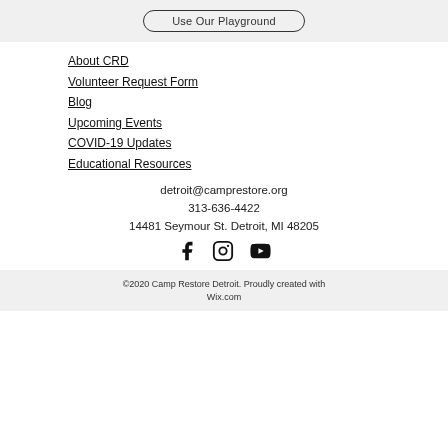[Figure (other): Button with rounded border: 'Use Our Playground']
About CRD
Volunteer Request Form
Blog
Upcoming Events
COVID-19 Updates
Educational Resources
detroit@camprestore.org
313-636-4422
14481 Seymour St. Detroit, MI 48205
[Figure (other): Social media icons: Facebook, Instagram, YouTube]
©2020 Camp Restore Detroit. Proudly created with Wix.com